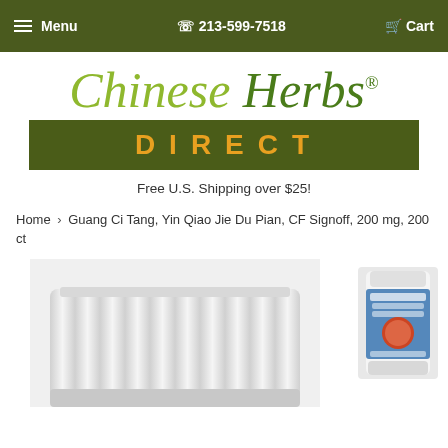Menu  213-599-7518  Cart
[Figure (logo): Chinese Herbs Direct logo — italic cursive text 'Chinese Herbs' in olive/green colors with registered trademark symbol, and 'DIRECT' in gold letters on dark olive green bar]
Free U.S. Shipping over $25!
Home › Guang Ci Tang, Yin Qiao Jie Du Pian, CF Signoff, 200 mg, 200 ct
[Figure (photo): Product photos: large white ribbed pill bottle cap/lid (main image, partially cropped) and small thumbnail of Guang Ci Tang Yin Qiao Jie Du Pian product bottle]